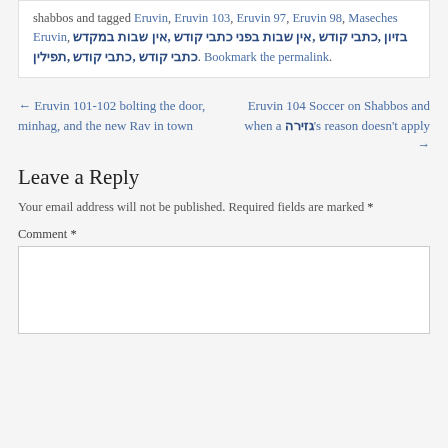shabbos and tagged Eruvin, Eruvin 103, Eruvin 97, Eruvin 98, Maseches Eruvin, בזיון ,כתבי קודש ,אין שבות בפני כתבי קודש ,אין שבות במקדש תפילין ,כתבי קודש ,כתבי קודש. Bookmark the permalink.
← Eruvin 101-102 bolting the door, minhag, and the new Rav in town
Eruvin 104 Soccer on Shabbos and when a גזירה’s reason doesn’t apply →
Leave a Reply
Your email address will not be published. Required fields are marked *
Comment *